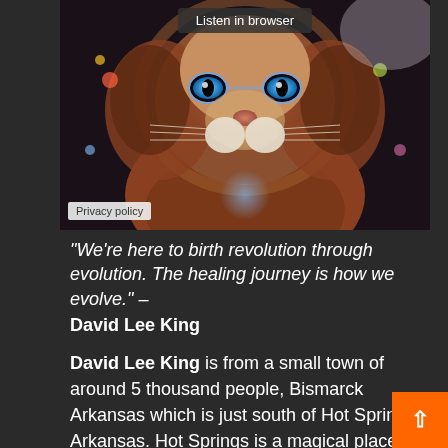[Figure (photo): Close-up fantasy illustration of a lion or tiger face with blue eyes, wearing psychedelic/mystical artwork style. A dark semi-transparent button 'Listen in browser' appears at the top. A 'Privacy policy' label appears in the bottom-left corner of the image.]
“We’re here to birth revolution through evolution. The healing journey is how we evolve.” – David Lee King
David Lee King is from a small town of around 5 thousand people, Bismarck Arkansas which is just south of Hot Springs, Arkansas. Hot Springs is a magical place full of crystals and 3 lakes where the water is literally charged by crystals. Less has always been into music and believe heavily that it is a magic